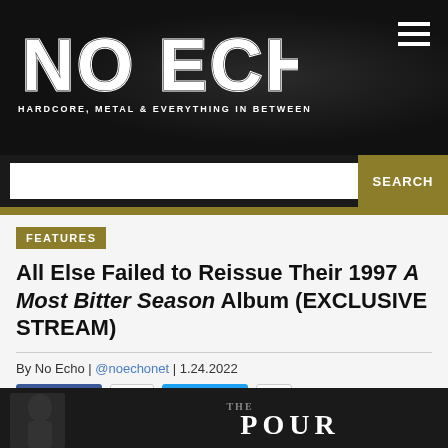NO ECHO — HARDCORE, METAL & EVERYTHING IN BETWEEN
SEARCH
FEATURES
All Else Failed to Reissue Their 1997 A Most Bitter Season Album (EXCLUSIVE STREAM)
By No Echo | @noechonet | 1.24.2022
Share 272  Tweet 14
[Figure (photo): Partial album cover image showing dark background with 'THE POUR' text visible]